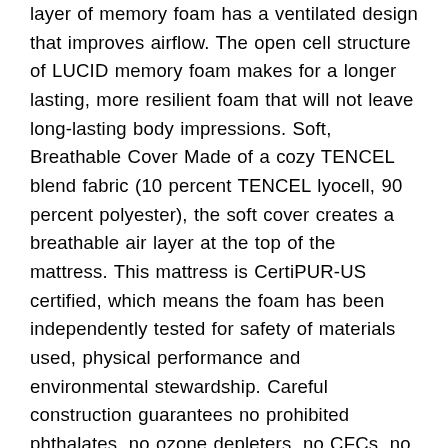layer of memory foam has a ventilated design that improves airflow. The open cell structure of LUCID memory foam makes for a longer lasting, more resilient foam that will not leave long-lasting body impressions. Soft, Breathable Cover Made of a cozy TENCEL blend fabric (10 percent TENCEL lyocell, 90 percent polyester), the soft cover creates a breathable air layer at the top of the mattress. This mattress is CertiPUR-US certified, which means the foam has been independently tested for safety of materials used, physical performance and environmental stewardship. Careful construction guarantees no prohibited phthalates, no ozone depleters, no CFCs, no mercury, no formaldehyde, no PBDEs, and low emission (VOCs) for indoor air quality. This mattress does not contain synthetic or natural latex of any kind. We offer a 10-Year that protects the mattress and cover against manufacturer defect. All of our products are shipped vacuum packed, so your mattress is easy to transport and set up. After your mattress arrives, simply take the package into the right room, remove it from the box and protective wrap, and then watch as it expands. Enjoy a set of Bamboo Linens on